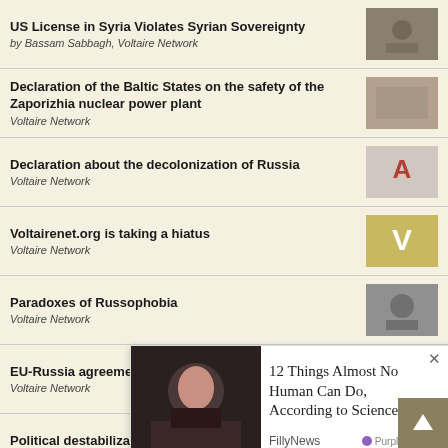US License in Syria Violates Syrian Sovereignty
by Bassam Sabbagh, Voltaire Network
Declaration of the Baltic States on the safety of the Zaporizhia nuclear power plant
Voltaire Network
Declaration about the decolonization of Russia
Voltaire Network
Voltairenet.org is taking a hiatus
Voltaire Network
Paradoxes of Russophobia
Voltaire Network
EU-Russia agreement on supplying Kaliningrad
Voltaire Network
Political destabilization plagues the West
Voltaire Network
Ukraine destroys its Nova Kakhovka factory
Voltaire Network
NATO... (Lu...
Voltaire Network
[Figure (screenshot): Advertisement overlay: 12 Things Almost No Human Can Do, According to Science! - FillyNews, PurpleAds]
U.S. armed forces beyond oversight
Voltaire Network